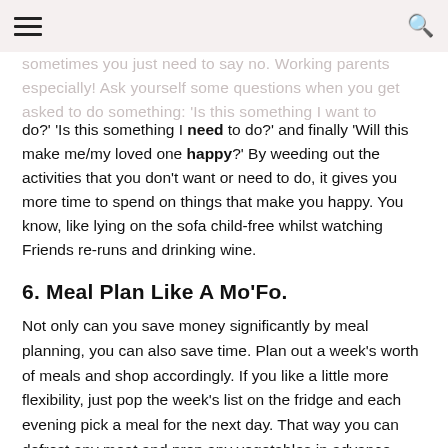[hamburger menu] [search icon]
sometimes you just need to say no. Working parents especially! Ask yourself some questions when you get asked to do something: 'Is this something I want to do?'
'Is this something I want to do?' 'Is this something I need to do?' and finally 'Will this make me/my loved one happy?' By weeding out the activities that you don't want or need to do, it gives you more time to spend on things that make you happy. You know, like lying on the sofa child-free whilst watching Friends re-runs and drinking wine.
6. Meal Plan Like A Mo'Fo.
Not only can you save money significantly by meal planning, you can also save time. Plan out a week's worth of meals and shop accordingly. If you like a little more flexibility, just pop the week's list on the fridge and each evening pick a meal for the next day. That way you can defrost any meat and prep any vegetables in advance.